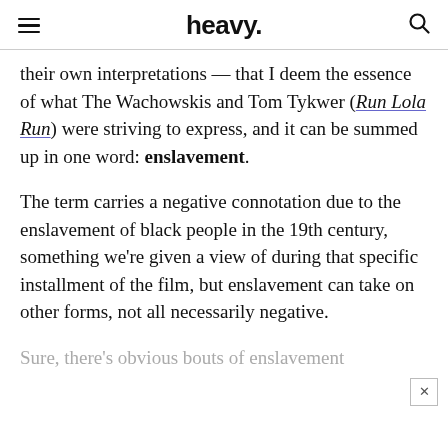heavy.
their own interpretations — that I deem the essence of what The Wachowskis and Tom Tykwer (Run Lola Run) were striving to express, and it can be summed up in one word: enslavement.
The term carries a negative connotation due to the enslavement of black people in the 19th century, something we're given a view of during that specific installment of the film, but enslavement can take on other forms, not all necessarily negative.
Sure, there's obvious bouts of enslavement